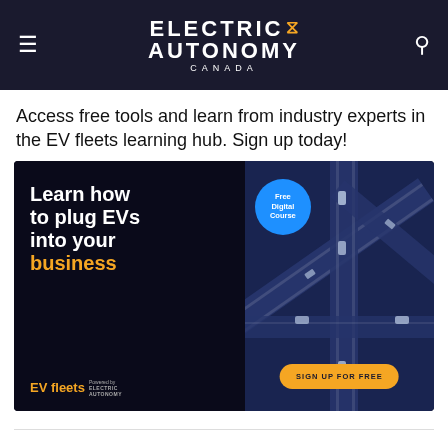ELECTRIC AUTONOMY CANADA
Access free tools and learn from industry experts in the EV fleets learning hub. Sign up today!
[Figure (illustration): Advertisement banner for EV Fleets learning hub by Electric Autonomy Canada. Left half has black background with white bold text 'Learn how to plug EVs into your business' (business in yellow), and 'EV fleets Powered by Electric Autonomy' branding at bottom. Right half shows aerial view of highway interchange with cars, a blue circle badge saying 'Free Digital Course', and a yellow button 'SIGN UP FOR FREE'.]